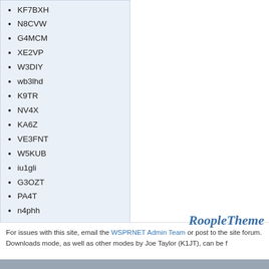KF7BXH
N8CVW
G4MCM
XE2VP
W3DIY
wb3lhd
K9TR
NV4X
KA6Z
VE3FNT
W5KUB
iu1gli
G3OZT
PA4T
n4phh
ve2aed
ws3w
KO4JRC
k9an
For issues with this site, email the WSPRNET Admin Team or post to the site forum. Downloads mode, as well as other modes by Joe Taylor (K1JT), can be f